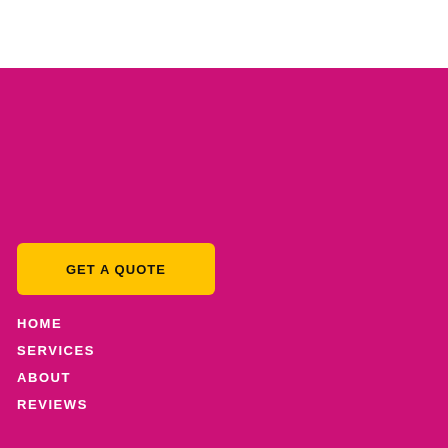[Figure (other): White header area at top of page]
[Figure (other): Pink/magenta background section]
GET A QUOTE
HOME
SERVICES
ABOUT
REVIEWS